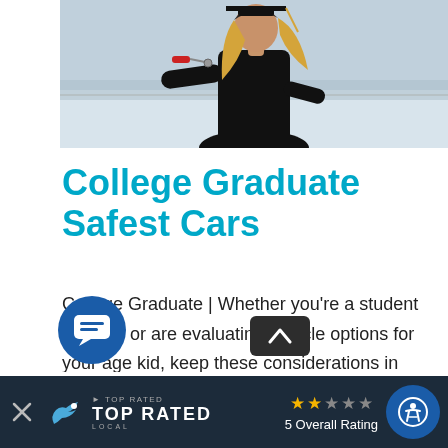[Figure (photo): Photo of a college graduate in black gown holding car keys, standing outdoors with a snowy landscape behind them]
College Graduate Safest Cars
College Graduate | Whether you're a student yourself or are evaluating vehicle options for your age kid, keep these considerations in mind. Each contributes to the overall cost of car ownership, and many vary considerably from model to model. College Grad Deserves the Safest New Car or SUV Here are t…